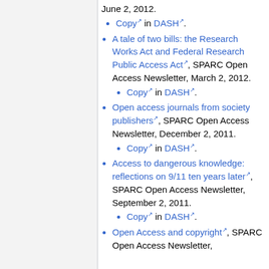June 2, 2012.
Copy in DASH.
A tale of two bills: the Research Works Act and Federal Research Public Access Act, SPARC Open Access Newsletter, March 2, 2012.
Copy in DASH.
Open access journals from society publishers, SPARC Open Access Newsletter, December 2, 2011.
Copy in DASH.
Access to dangerous knowledge: reflections on 9/11 ten years later, SPARC Open Access Newsletter, September 2, 2011.
Copy in DASH.
Open Access and copyright, SPARC Open Access Newsletter, July 2, 2011.